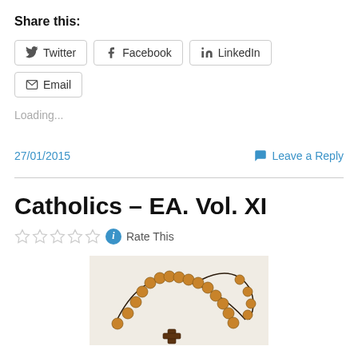Share this:
Twitter
Facebook
LinkedIn
Email
Loading...
27/01/2015
Leave a Reply
Catholics – EA. Vol. XI
Rate This
[Figure (photo): A wooden rosary with beads and cross on a light background]